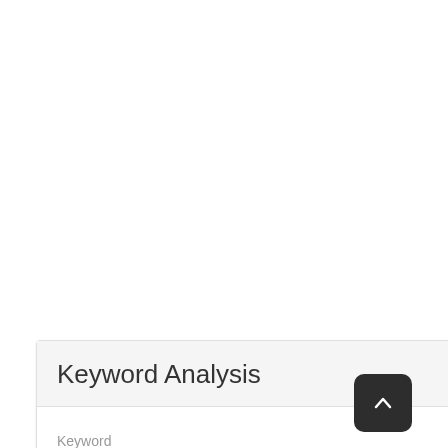Keyword Analysis
| Keyword | CPC | PCC | Vo |
| --- | --- | --- | --- |
| 2007 toyota camry brake light bulb | 1.17 | 0.4 | 61 |
| 2007 | 1.13 | 0.3 | 22 |
| toyota | 1.33 | 0.1 | 16 |
| camry | 0.95 | 0.1 |  |